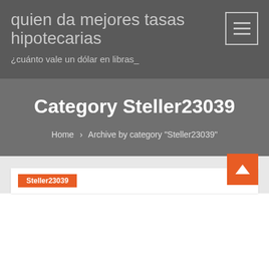quien da mejores tasas hipotecarias
¿cuánto vale un dólar en libras_
Category Steller23039
Home › Archive by category "Steller23039"
Steller23039